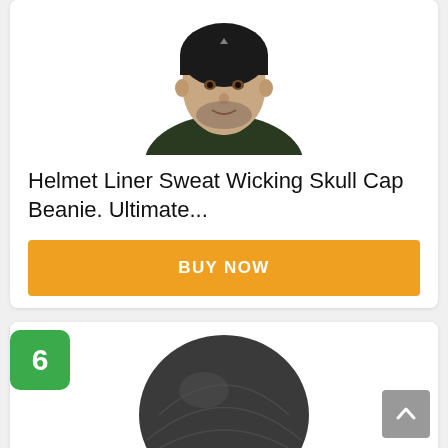[Figure (photo): Man wearing a black Helmet Liner Sweat Wicking Skull Cap Beanie, shown from shoulders up, wearing a dark olive jacket]
Helmet Liner Sweat Wicking Skull Cap Beanie. Ultimate...
BUY NOW
6
[Figure (photo): Nike Pro Combat black skull cap shown on a mannequin head, displaying the Nike swoosh logo]
Nike Pro Combat Skull Cap (Black/White, One...)